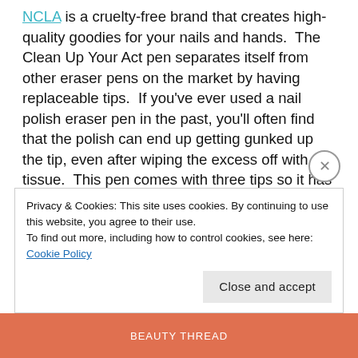NCLA is a cruelty-free brand that creates high-quality goodies for your nails and hands. The Clean Up Your Act pen separates itself from other eraser pens on the market by having replaceable tips. If you've ever used a nail polish eraser pen in the past, you'll often find that the polish can end up getting gunked up the tip, even after wiping the excess off with a tissue. This pen comes with three tips so it has a longer life. When used with a gentle hand, it helps clean up any mistakes that otherwise may have had you removing it all and starting from scratch. Spare yourself the extra nail polish fumes and the raised blood pressure and just use this pen.
Privacy & Cookies: This site uses cookies. By continuing to use this website, you agree to their use.
To find out more, including how to control cookies, see here: Cookie Policy